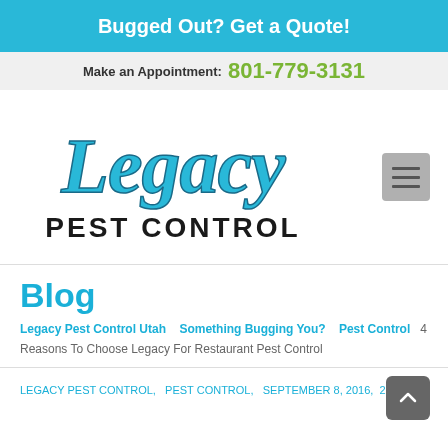Bugged Out? Get a Quote!
Make an Appointment: 801-779-3131
[Figure (logo): Legacy Pest Control logo with stylized blue cursive 'Legacy' text above bold black 'PEST CONTROL' text]
Blog
Legacy Pest Control Utah   Something Bugging You?   Pest Control   4 Reasons To Choose Legacy For Restaurant Pest Control
LEGACY PEST CONTROL,  PEST CONTROL,  SEPTEMBER 8, 2016,  29 LIKES